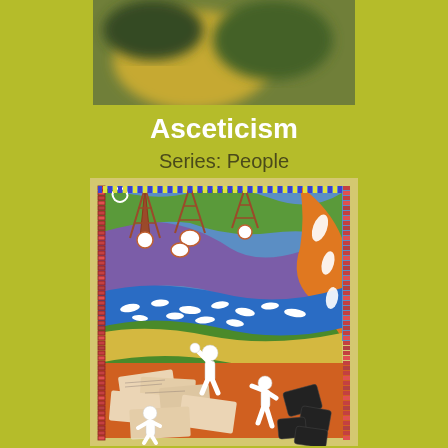[Figure (photo): Blurred photo at top, partially visible, appears to show orange and green colors]
Asceticism
Series: People
[Figure (illustration): Colorful artwork showing abstract landscape with transmission towers, swirling water forms in blue, purple, green, and orange, with white fish shapes; lower half shows white human-like figures surrounded by newspapers and electronic devices on an orange background, with a brick-pattern border]